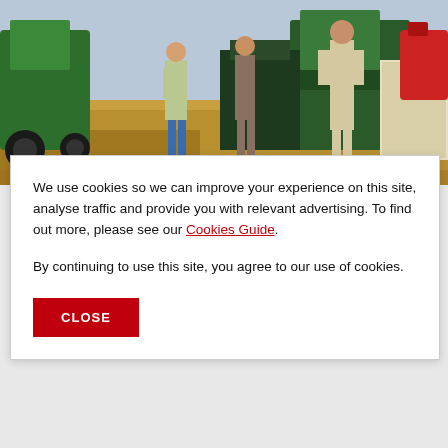[Figure (photo): Farmers working in a wheat field next to green harvesting machinery and a trailer with a red fuel can]
We use cookies so we can improve your experience on this site, analyse traffic and provide you with relevant advertising. To find out more, please see our Cookies Guide.
By continuing to use this site, you agree to our use of cookies.
CLOSE